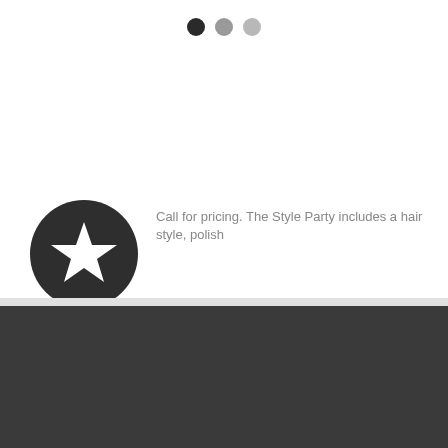[Figure (other): Three pagination dots: first dot is dark/filled, second and third are lighter gray]
[Figure (illustration): Dark circular icon with a white star in the center]
Call for pricing. The Style Party includes a hair style, polish
CONTACT INFO
LIKE US ON FACEBOOK
7535 Burlington Pike
Florence, KY 41042